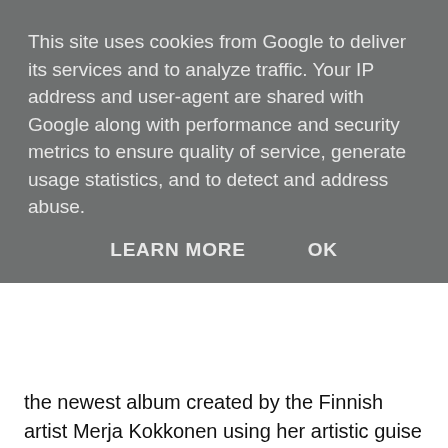This site uses cookies from Google to deliver its services and to analyze traffic. Your IP address and user-agent are shared with Google along with performance and security metrics to ensure quality of service, generate usage statistics, and to detect and address abuse.
LEARN MORE   OK
the newest album created by the Finnish artist Merja Kokkonen using her artistic guise Islaja. Catering a menu of nine tracks covering a runtime of approx. 38 minutes we see the Berlin-based creator explore a fascinating realm of distinct, unique Leftfield Pop starting with the vocally warped and string heavy tale named "Ghost From The Future" which fuses both modernistic as well as ancient musical tendencies whilst "Emosein" brings dramatic, captivating multiple harmony layers of - well... - slightly björk'ish qualities to the table and its follow up "Sadetta" and its hypnotic beat backing is more of an intense and ceremonial, maybe even celebratory character. With "Tactile Material" we're entering a dancefloor crowded by SynthPop, PostPunk and Wave-loving creatures of the night which also have a thing for